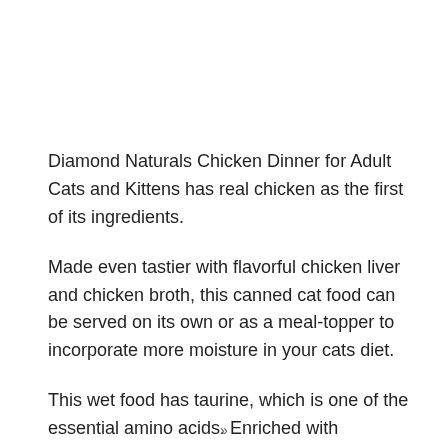Diamond Naturals Chicken Dinner for Adult Cats and Kittens has real chicken as the first of its ingredients.
Made even tastier with flavorful chicken liver and chicken broth, this canned cat food can be served on its own or as a meal-topper to incorporate more moisture in your cats diet.
This wet food has taurine, which is one of the essential amino acids. Enriched with superfoods such as kale, cranberries, quinoa, and others, it contains natural antioxidants that help strengthen the immune system. It has